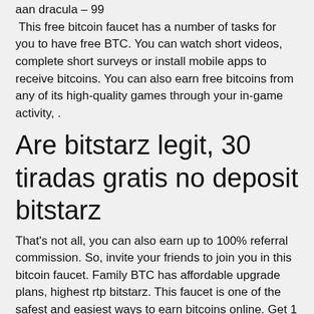aan dracula – 99
 This free bitcoin faucet has a number of tasks for you to have free BTC. You can watch short videos, complete short surveys or install mobile apps to receive bitcoins. You can also earn free bitcoins from any of its high-quality games through your in-game activity, .
Are bitstarz legit, 30 tiradas gratis no deposit bitstarz
That's not all, you can also earn up to 100% referral commission. So, invite your friends to join you in this bitcoin faucet. Family BTC has affordable upgrade plans, highest rtp bitstarz. This faucet is one of the safest and easiest ways to earn bitcoins online. Get 1 Bitcoin per week, highest rtp bitstarz. That's not all, you can also earn up to 100% referral commission. bitstarz bonus senza deposito